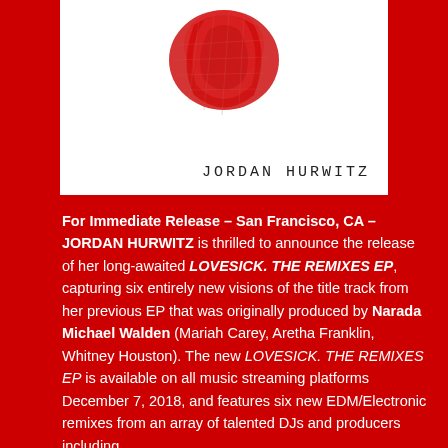[Figure (illustration): Album cover artwork showing a red sculptural figure/mask shape on white background with artist name 'JORDAN HURWITZ' in monospace text at bottom right]
For Immediate Release – San Francisco, CA – JORDAN HURWITZ is thrilled to announce the release of her long-awaited LOVESICK. THE REMIXES EP, capturing six entirely new visions of the title track from her previous EP that was originally produced by Narada Michael Walden (Mariah Carey, Aretha Franklin, Whitney Houston). The new LOVESICK. THE REMIXES EP is available on all music streaming platforms December 7, 2018, and features six new EDM/Electronic remixes from an array of talented DJs and producers including